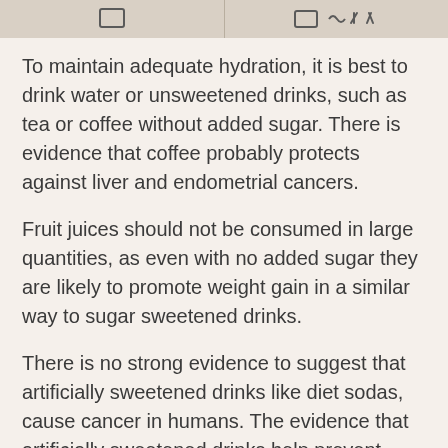[Figure (illustration): Header bar split into two sections with icons: left section shows a cup/mug icon outline, right section shows a cup with additional symbols]
To maintain adequate hydration, it is best to drink water or unsweetened drinks, such as tea or coffee without added sugar. There is evidence that coffee probably protects against liver and endometrial cancers.
Fruit juices should not be consumed in large quantities, as even with no added sugar they are likely to promote weight gain in a similar way to sugar sweetened drinks.
There is no strong evidence to suggest that artificially sweetened drinks like diet sodas, cause cancer in humans. The evidence that artificially sweetened drinks help prevent weight gain, overweight and obesity is not consistent. The